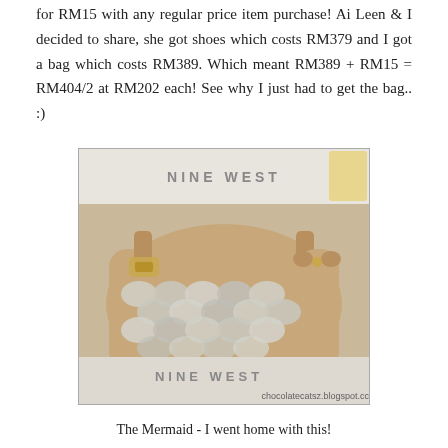for RM15 with any regular price item purchase! Ai Leen & I decided to share, she got shoes which costs RM379 and I got a bag which costs RM389. Which meant RM389 + RM15 = RM404/2 at RM202 each! See why I just had to get the bag.. :)
[Figure (photo): Photo of a beige/tan Nine West handbag called The Mermaid, featuring silver metallic scale-like circular embellishments on the front, with gold-tone hardware buckles on the straps, sitting in a white Nine West box. Watermark: chocolatecatsz.blogspot.com]
The Mermaid - I went home with this!